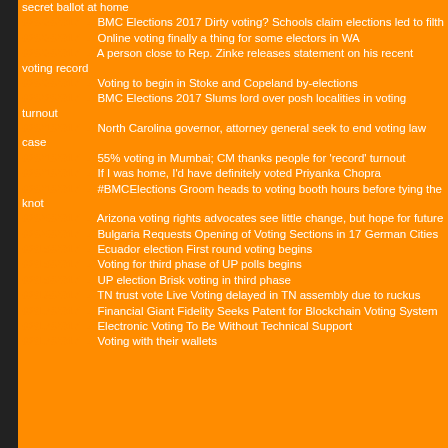secret ballot at home
02/23/2017 [-] BMC Elections 2017 Dirty voting? Schools claim elections led to filth
02/23/2017 [-] Online voting finally a thing for some electors in WA
02/23/2017 [-] A person close to Rep. Zinke releases statement on his recent voting record
02/23/2017 [-] Voting to begin in Stoke and Copeland by-elections
02/22/2017 [-] BMC Elections 2017 Slums lord over posh localities in voting turnout
02/21/2017 [-] North Carolina governor, attorney general seek to end voting law case
02/21/2017 [-] 55% voting in Mumbai; CM thanks people for 'record' turnout
02/21/2017 [-] If I was home, I'd have definitely voted Priyanka Chopra
02/21/2017 [-] #BMCElections Groom heads to voting booth hours before tying the knot
02/20/2017 [-] Arizona voting rights advocates see little change, but hope for future
02/20/2017 [-] Bulgaria Requests Opening of Voting Sections in 17 German Cities
02/19/2017 [-] Ecuador election First round voting begins
02/19/2017 [-] Voting for third phase of UP polls begins
02/19/2017 [-] UP election Brisk voting in third phase
02/18/2017 [-] TN trust vote Live Voting delayed in TN assembly due to ruckus
02/17/2017 [-] Financial Giant Fidelity Seeks Patent for Blockchain Voting System
02/17/2017 [-] Electronic Voting To Be Without Technical Support
02/17/2017 [-] Voting with their wallets